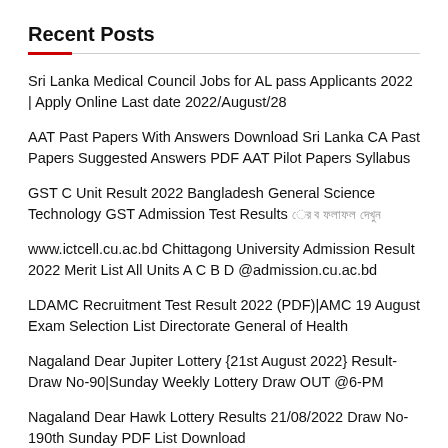Recent Posts
Sri Lanka Medical Council Jobs for AL pass Applicants 2022 | Apply Online Last date 2022/August/28
AAT Past Papers With Answers Download Sri Lanka CA Past Papers Suggested Answers PDF AAT Pilot Papers Syllabus
GST C Unit Result 2022 Bangladesh General Science Technology GST Admission Test Results [Bengali text]
www.ictcell.cu.ac.bd Chittagong University Admission Result 2022 Merit List All Units A C B D @admission.cu.ac.bd
LDAMC Recruitment Test Result 2022 (PDF)|AMC 19 August Exam Selection List Directorate General of Health
Nagaland Dear Jupiter Lottery {21st August 2022} Result-Draw No-90|Sunday Weekly Lottery Draw OUT @6-PM
Nagaland Dear Hawk Lottery Results 21/08/2022 Draw No-190th Sunday PDF List Download